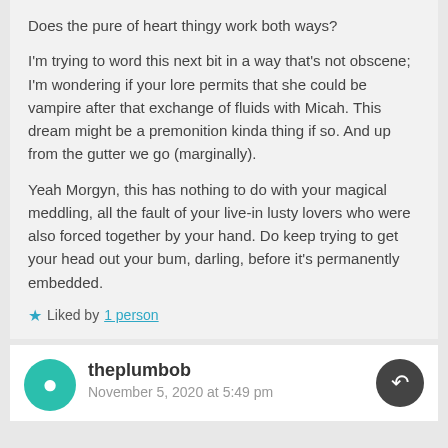Does the pure of heart thingy work both ways?

I'm trying to word this next bit in a way that's not obscene; I'm wondering if your lore permits that she could be vampire after that exchange of fluids with Micah. This dream might be a premonition kinda thing if so. And up from the gutter we go (marginally).

Yeah Morgyn, this has nothing to do with your magical meddling, all the fault of your live-in lusty lovers who were also forced together by your hand. Do keep trying to get your head out your bum, darling, before it's permanently embedded.
Liked by 1 person
theplumbob
November 5, 2020 at 5:49 pm